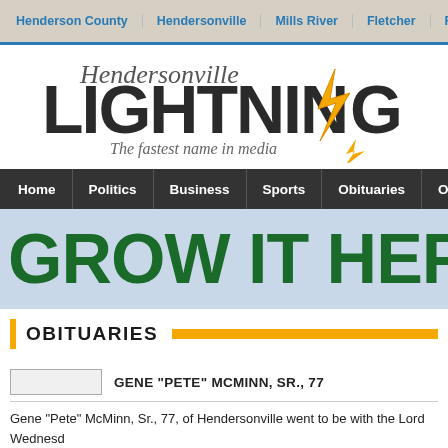Henderson County | Hendersonville | Mills River | Fletcher | Flat ...
[Figure (logo): Hendersonville LIGHTNING - The fastest name in media logo with orange lightning bolt]
Home | Politics | Business | Sports | Obituaries | Opinion
[Figure (infographic): Banner advertisement: GROW IT HERE, BU...]
OBITUARIES
GENE "PETE" MCMINN, SR., 77
Gene "Pete" McMinn, Sr., 77, of Hendersonville went to be with the Lord Wednesd...